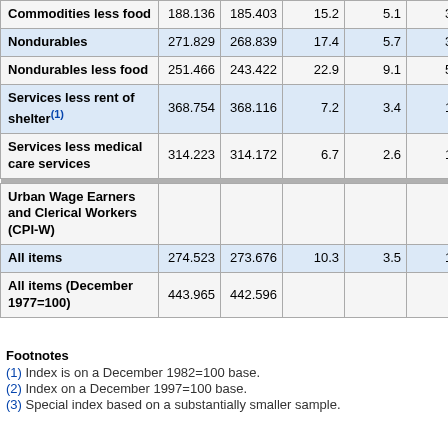| Category | Value1 | Value2 | Col3 | Col4 | Col5 | Col6 |
| --- | --- | --- | --- | --- | --- | --- |
| Commodities less food | 188.136 | 185.403 | 15.2 | 5.1 | 3.1 | 12.3 |
| Nondurables | 271.829 | 268.839 | 17.4 | 5.7 | 3.1 | 15.3 |
| Nondurables less food | 251.466 | 243.422 | 22.9 | 9.1 | 5.3 | 18.1 |
| Services less rent of shelter(1) | 368.754 | 368.116 | 7.2 | 3.4 | 1.4 | 6.8 |
| Services less medical care services | 314.223 | 314.172 | 6.7 | 2.6 | 1.2 | 6.2 |
| Urban Wage Earners and Clerical Workers (CPI-W) |  |  |  |  |  |  |
| All items | 274.523 | 273.676 | 10.3 | 3.5 | 1.9 | 9.2 |
| All items (December 1977=100) | 443.965 | 442.596 |  |  |  |  |
Footnotes
(1) Index is on a December 1982=100 base.
(2) Index on a December 1997=100 base.
(3) Special index based on a substantially smaller sample.